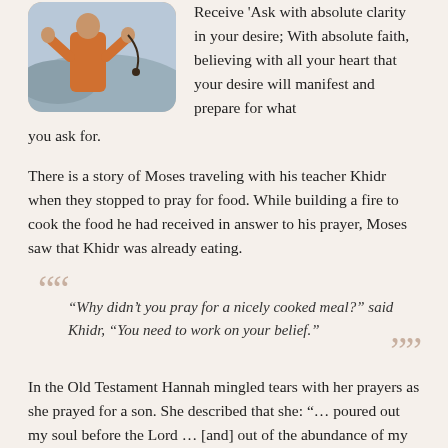[Figure (photo): A person praying with hands raised and prayer beads, wearing orange, with a misty mountain background.]
Receive 'Ask with absolute clarity in your desire; With absolute faith, believing with all your heart that your desire will manifest and prepare for what you ask for.
There is a story of Moses traveling with his teacher Khidr when they stopped to pray for food. While building a fire to cook the food he had received in answer to his prayer, Moses saw that Khidr was already eating.
“Why didn’t you pray for a nicely cooked meal?” said Khidr, “You need to work on your belief.”
In the Old Testament Hannah mingled tears with her prayers as she prayed for a son. She described that she: “… poured out my soul before the Lord … [and] out of the abundance of my complaint and grief have I spoken…” and then that, after